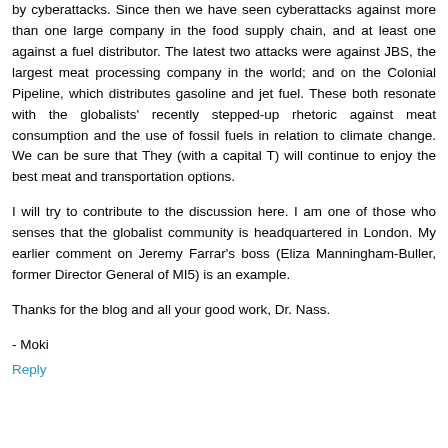by cyberattacks. Since then we have seen cyberattacks against more than one large company in the food supply chain, and at least one against a fuel distributor. The latest two attacks were against JBS, the largest meat processing company in the world; and on the Colonial Pipeline, which distributes gasoline and jet fuel. These both resonate with the globalists' recently stepped-up rhetoric against meat consumption and the use of fossil fuels in relation to climate change. We can be sure that They (with a capital T) will continue to enjoy the best meat and transportation options.
I will try to contribute to the discussion here. I am one of those who senses that the globalist community is headquartered in London. My earlier comment on Jeremy Farrar's boss (Eliza Manningham-Buller, former Director General of MI5) is an example.
Thanks for the blog and all your good work, Dr. Nass.
- Moki
Reply